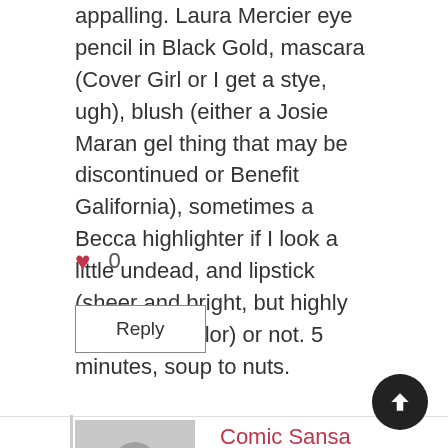appalling. Laura Mercier eye pencil in Black Gold, mascara (Cover Girl or I get a stye, ugh), blush (either a Josie Maran gel thing that may be discontinued or Benefit Galifornia), sometimes a Becca highlighter if I look a little undead, and lipstick (sheer and bright, but highly variable in color) or not. 5 minutes, soup to nuts.
♥ 0
Reply
Comic Sansa
© 29 Nov 2017  10:07pm
[Figure (illustration): Generic grey user avatar placeholder image]
I, too, love these posts. I am a skincare junkie;